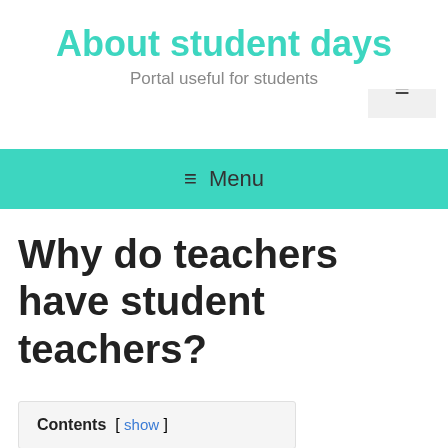About student days
Portal useful for students
[Figure (screenshot): Hamburger menu icon (three horizontal lines) in a light grey box at top right]
≡ Menu
Why do teachers have student teachers?
Contents [ show ]